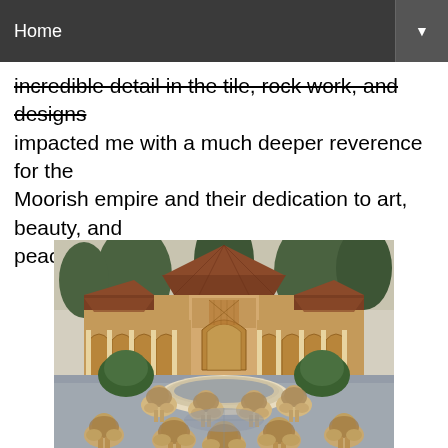Home
incredible detail in the tile, rock work, and designs impacted me with a much deeper reverence for the Moorish empire and their dedication to art, beauty, and peace.
[Figure (photo): Photograph of the Court of the Lions at the Alhambra palace in Granada, Spain. Shows the famous marble lion fountain in the foreground with Moorish arched colonnades and ornately decorated pavilion behind, surrounded by trimmed hedges, under a terracotta tiled roof with tall cypress trees visible above the walls.]